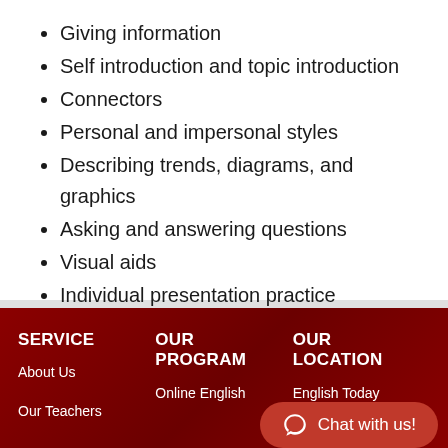Giving information
Self introduction and topic introduction
Connectors
Personal and impersonal styles
Describing trends, diagrams, and graphics
Asking and answering questions
Visual aids
Individual presentation practice
SERVICE | OUR PROGRAM | OUR LOCATION
About Us | Online English | English Today
Our Teachers
Chat with us!